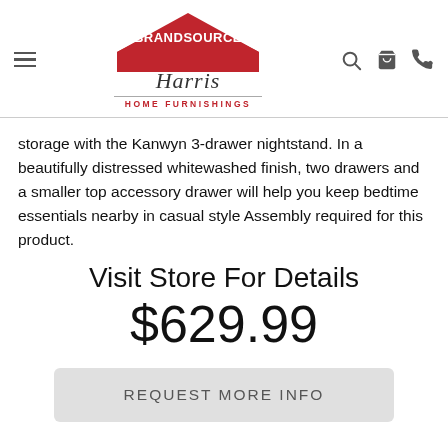[Figure (logo): BrandSource Harris Home Furnishings logo with house shape and red background]
storage with the Kanwyn 3-drawer nightstand. In a beautifully distressed whitewashed finish, two drawers and a smaller top accessory drawer will help you keep bedtime essentials nearby in casual style Assembly required for this product.
Visit Store For Details
$629.99
REQUEST MORE INFO